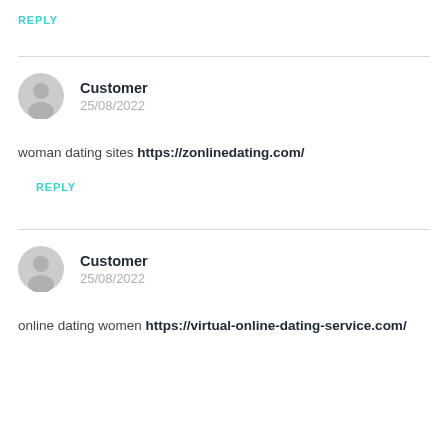REPLY
Customer
25/08/2022
woman dating sites https://zonlinedating.com/
REPLY
Customer
25/08/2022
online dating women https://virtual-online-dating-service.com/